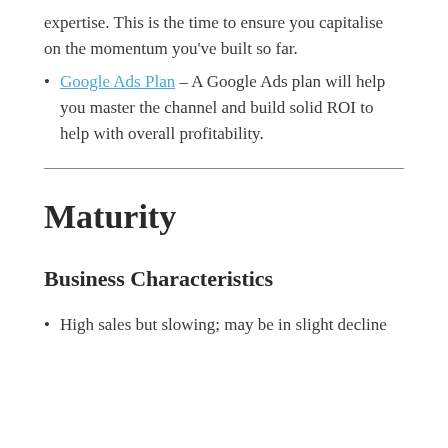expertise. This is the time to ensure you capitalise on the momentum you've built so far.
Google Ads Plan – A Google Ads plan will help you master the channel and build solid ROI to help with overall profitability.
Maturity
Business Characteristics
High sales but slowing; may be in slight decline